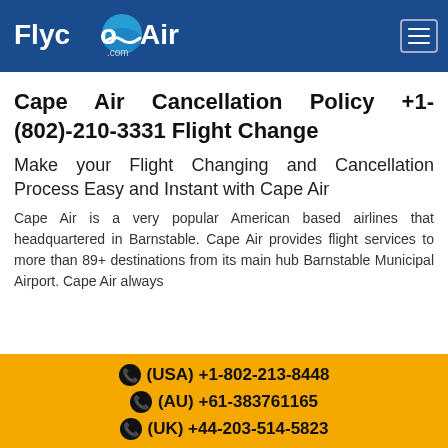FlycoAir.com
Cape Air Cancellation Policy +1-(802)-210-3331 Flight Change
Make your Flight Changing and Cancellation Process Easy and Instant with Cape Air
Cape Air is a very popular American based airlines that headquartered in Barnstable. Cape Air provides flight services to more than 89+ destinations from its main hub Barnstable Municipal Airport. Cape Air always
(USA) +1-802-213-8448 | (AU) +61-383761165 | (UK) +44-203-514-5823